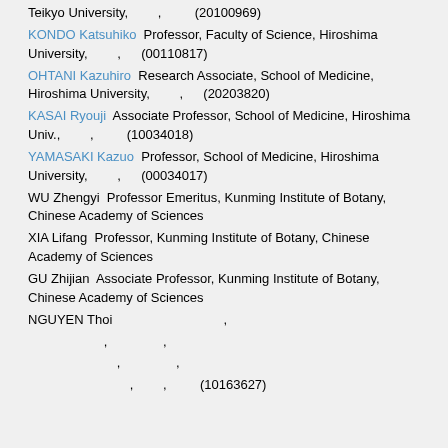Teikyo University, [CJK], [CJK] (20100969)
KONDO Katsuhiko  Professor, Faculty of Science, Hiroshima University, [CJK], [CJK] (00110817)
OHTANI Kazuhiro  Research Associate, School of Medicine, Hiroshima University, [CJK], [CJK] (20203820)
KASAI Ryouji  Associate Professor, School of Medicine, Hiroshima Univ., [CJK], [CJK] (10034018)
YAMASAKI Kazuo  Professor, School of Medicine, Hiroshima University, [CJK], [CJK] (00034017)
WU Zhengyi  Professor Emeritus, Kunming Institute of Botany, Chinese Academy of Sciences
XIA Lifang  Professor, Kunming Institute of Botany, Chinese Academy of Sciences
GU Zhijian  Associate Professor, Kunming Institute of Botany, Chinese Academy of Sciences
NGUYEN Thoi  [CJK], [CJK]
[CJK] [CJK]  [CJK], [CJK], [CJK]
[CJK] [CJK]  [CJK], [CJK], [CJK]
[CJK] [CJK]  [CJK], [CJK], [CJK] (10163627)